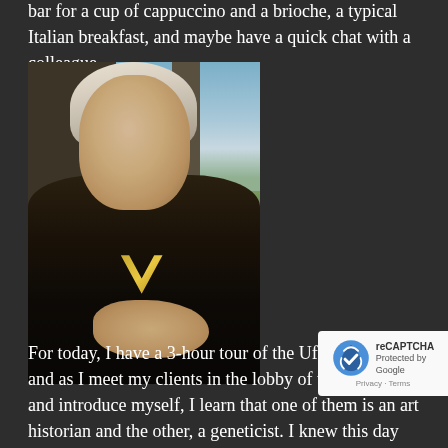bar for a cup of cappuccino and a brioche, a typical Italian breakfast, and maybe have a quick chat with a colleague.
[Figure (photo): Renaissance-style portrait painting of a woman in dark clothing with a white veil/headdress, holding an object, with a landscape and arched background visible behind her.]
For today, I have a 3-hour tour of the Uffizi Gallery and as I meet my clients in the lobby of their hotel and introduce myself, I learn that one of them is an art historian and the other, a geneticist. I knew this day was going to be interesting but I didn't